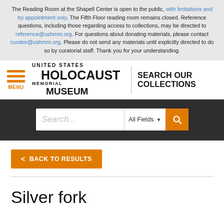The Reading Room at the Shapell Center is open to the public, with limitations and by appointment only. The Fifth Floor reading room remains closed. Reference questions, including those regarding access to collections, may be directed to reference@ushmm.org. For questions about donating materials, please contact curator@ushmm.org. Please do not send any materials until explicitly directed to do so by curatorial staff. Thank you for your understanding.
[Figure (logo): United States Holocaust Memorial Museum logo with hamburger menu icon and SEARCH OUR COLLECTIONS text]
[Figure (screenshot): Search bar with placeholder text 'Search...', 'All Fields' dropdown, and orange search button]
< BACK TO RESULTS
Silver fork